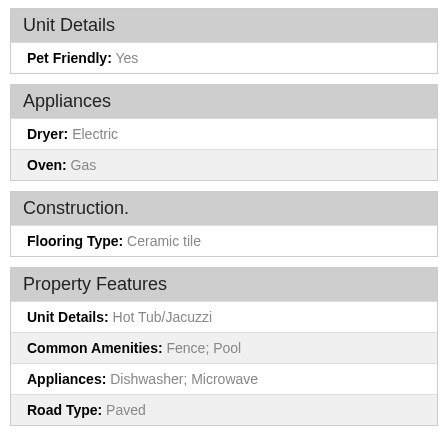Unit Details
| Pet Friendly: | Yes |
Appliances
| Dryer: | Electric |
| Oven: | Gas |
Construction.
| Flooring Type: | Ceramic tile |
Property Features
| Unit Details: | Hot Tub/Jacuzzi |
| Common Amenities: | Fence; Pool |
| Appliances: | Dishwasher; Microwave |
| Road Type: | Paved |